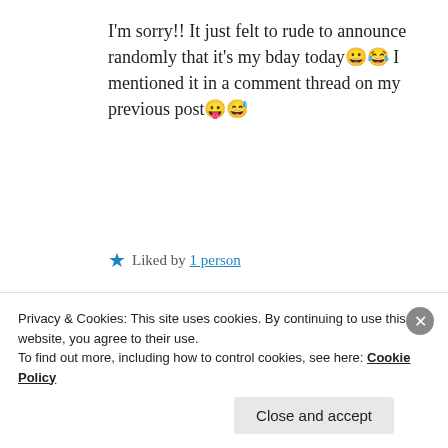I'm sorry!! It just felt to rude to announce randomly that it's my bday today😀😂 I mentioned it in a comment thread on my previous post😛😅
★ Liked by 1 person
REPLY
Privacy & Cookies: This site uses cookies. By continuing to use this website, you agree to their use.
To find out more, including how to control cookies, see here: Cookie Policy
Close and accept